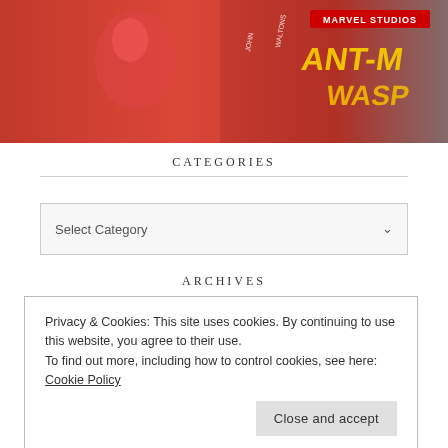[Figure (photo): Movie poster for Ant-Man and the Wasp (Marvel Studios), showing a female character in a red-orange costume with the movie title text visible.]
CATEGORIES
Select Category
ARCHIVES
Privacy & Cookies: This site uses cookies. By continuing to use this website, you agree to their use.
To find out more, including how to control cookies, see here: Cookie Policy
Close and accept